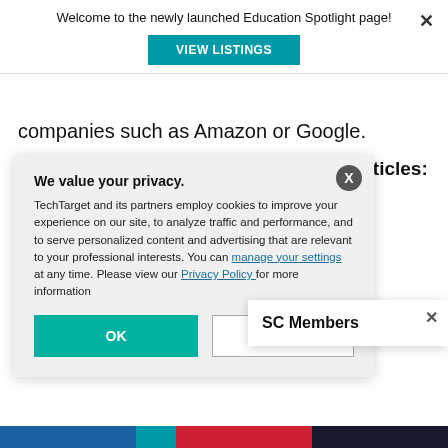Welcome to the newly launched Education Spotlight page!
VIEW LISTINGS
companies such as Amazon or Google.
Here is my selection of controversial articles:
We value your privacy. TechTarget and its partners employ cookies to improve your experience on our site, to analyze traffic and performance, and to serve personalized content and advertising that are relevant to your professional interests. You can manage your settings at any time. Please view our Privacy Policy for more information
SC Members